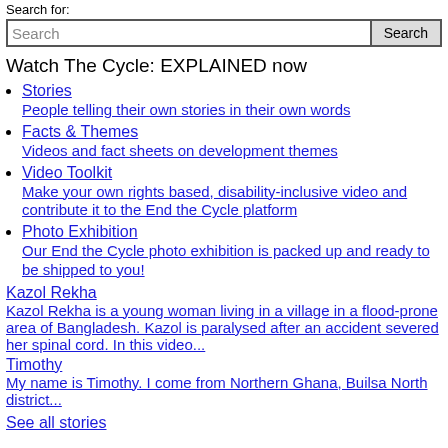Search for:
Search [input] Search [button]
Watch The Cycle: EXPLAINED now
Stories
People telling their own stories in their own words
Facts & Themes
Videos and fact sheets on development themes
Video Toolkit
Make your own rights based, disability-inclusive video and contribute it to the End the Cycle platform
Photo Exhibition
Our End the Cycle photo exhibition is packed up and ready to be shipped to you!
Kazol Rekha
Kazol Rekha is a young woman living in a village in a flood-prone area of Bangladesh. Kazol is paralysed after an accident severed her spinal cord. In this video...
Timothy
My name is Timothy. I come from Northern Ghana, Builsa North district...
See all stories